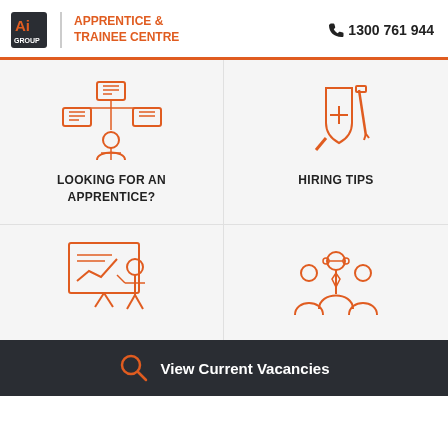Ai GROUP | APPRENTICE & TRAINEE CENTRE | 1300 761 944
[Figure (illustration): Orange line icon of a person with network/computer diagram above]
LOOKING FOR AN APPRENTICE?
[Figure (illustration): Orange line icon of a magnifying glass with plus sign and screwdriver]
HIRING TIPS
[Figure (illustration): Orange line icon of a person presenting at a whiteboard]
[Figure (illustration): Orange line icon of a group of three people]
View Current Vacancies